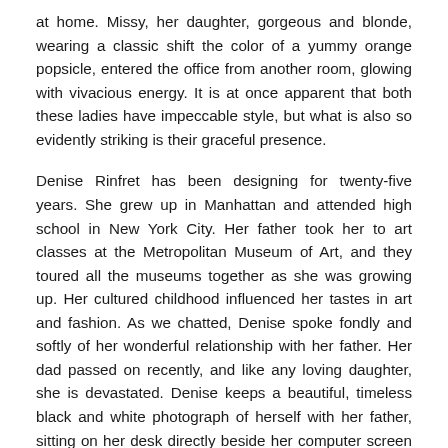at home. Missy, her daughter, gorgeous and blonde, wearing a classic shift the color of a yummy orange popsicle, entered the office from another room, glowing with vivacious energy. It is at once apparent that both these ladies have impeccable style, but what is also so evidently striking is their graceful presence.
Denise Rinfret has been designing for twenty-five years. She grew up in Manhattan and attended high school in New York City. Her father took her to art classes at the Metropolitan Museum of Art, and they toured all the museums together as she was growing up. Her cultured childhood influenced her tastes in art and fashion. As we chatted, Denise spoke fondly and softly of her wonderful relationship with her father. Her dad passed on recently, and like any loving daughter, she is devastated. Denise keeps a beautiful, timeless black and white photograph of herself with her father, sitting on her desk directly beside her computer screen so her dad is always in her eye's view.